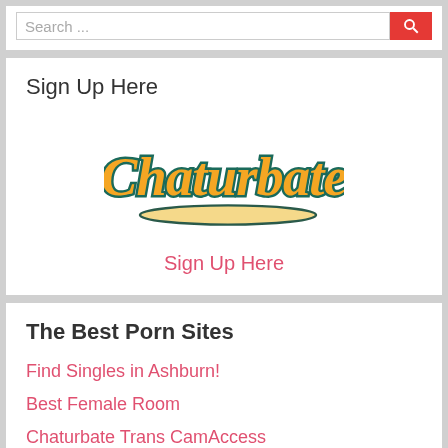Search ...
[Figure (logo): Chaturbate logo with orange cursive text and teal outline on a white background]
Sign Up Here
Sign Up Here
The Best Porn Sites
Find Singles in Ashburn!
Best Female Room
Chaturbate Trans CamAccess